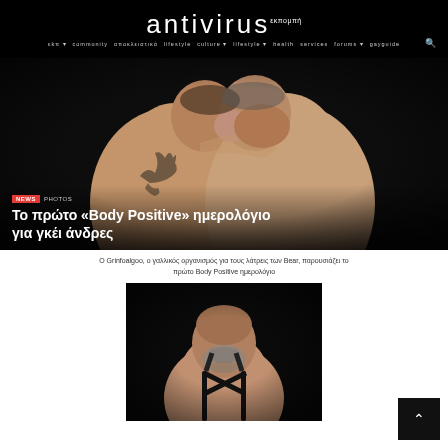antivirus
[Figure (photo): Hero photo: two plus-size men kissing against a black background, one with a tribal tattoo on his shoulder]
Το πρώτο «Body Positive» ημερολόγιο για γκέι άνδρες
Ο Grinfoalgoo, ο γαλλικός οργανισμός για τους λάτρεις του Bear, παρουσιάζει το πρώτο Body Positive ημερολόγιο
[Figure (photo): Photo of a bald plus-size man with a beard, wearing black suspenders, against a dark background]